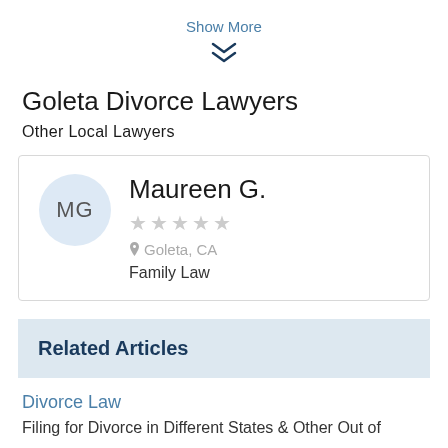Show More
❯❯ (chevron/expand icon)
Goleta Divorce Lawyers
Other Local Lawyers
Maureen G.
★★★★★ (no rating)
Goleta, CA
Family Law
Related Articles
Divorce Law
Filing for Divorce in Different States & Other Out of